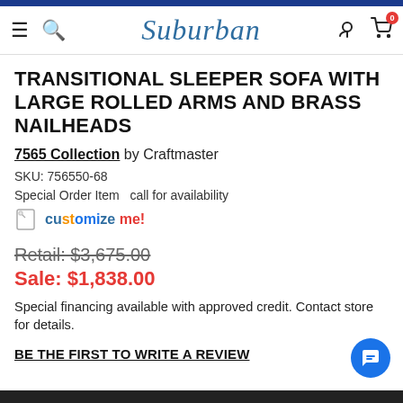Suburban
TRANSITIONAL SLEEPER SOFA WITH LARGE ROLLED ARMS AND BRASS NAILHEADS
7565 Collection by Craftmaster
SKU: 756550-68
Special Order Item  call for availability
customize me!
Retail: $3,675.00
Sale: $1,838.00
Special financing available with approved credit. Contact store for details.
BE THE FIRST TO WRITE A REVIEW